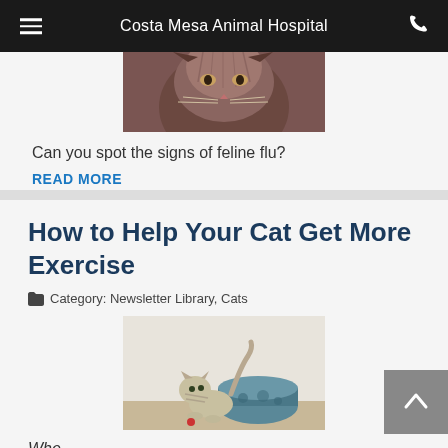Costa Mesa Animal Hospital
[Figure (photo): Close-up photo of a fluffy cat from below, looking at camera]
Can you spot the signs of feline flu?
READ MORE
How to Help Your Cat Get More Exercise
Category: Newsletter Library, Cats
[Figure (photo): Photo of a playful cat batting at a cylindrical toy on the floor]
Whe...